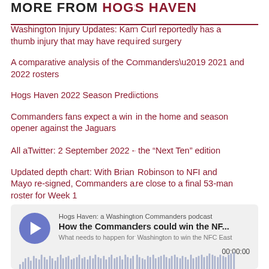MORE FROM HOGS HAVEN
Washington Injury Updates: Kam Curl reportedly has a thumb injury that may have required surgery
A comparative analysis of the Commanders’ 2021 and 2022 rosters
Hogs Haven 2022 Season Predictions
Commanders fans expect a win in the home and season opener against the Jaguars
All aTwitter: 2 September 2022 - the “Next Ten” edition
Updated depth chart: With Brian Robinson to NFI and Mayo re-signed, Commanders are close to a final 53-man roster for Week 1
[Figure (other): Podcast player widget for 'Hogs Haven: a Washington Commanders podcast' episode 'How the Commanders could win the NF...' with subtitle 'What needs to happen for Washington to win the NFC East', showing a play button, timestamp 00:00:00, and audio waveform visualization.]